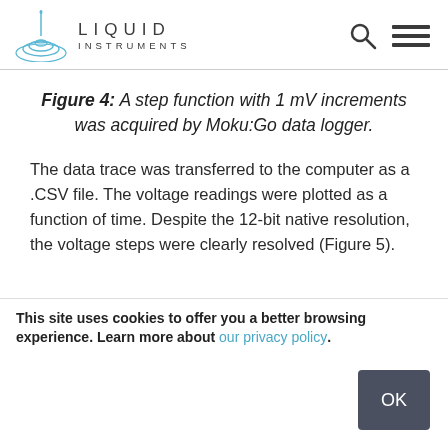LIQUID INSTRUMENTS
Figure 4: A step function with 1 mV increments was acquired by Moku:Go data logger.
The data trace was transferred to the computer as a .CSV file. The voltage readings were plotted as a function of time. Despite the 12-bit native resolution, the voltage steps were clearly resolved (Figure 5).
This site uses cookies to offer you a better browsing experience. Learn more about our privacy policy.